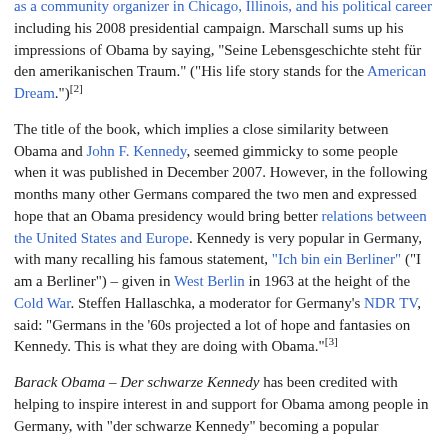as a community organizer in Chicago, Illinois, and his political career including his 2008 presidential campaign. Marschall sums up his impressions of Obama by saying, "Seine Lebensgeschichte steht für den amerikanischen Traum." ("His life story stands for the American Dream.")[2]
The title of the book, which implies a close similarity between Obama and John F. Kennedy, seemed gimmicky to some people when it was published in December 2007. However, in the following months many other Germans compared the two men and expressed hope that an Obama presidency would bring better relations between the United States and Europe. Kennedy is very popular in Germany, with many recalling his famous statement, "Ich bin ein Berliner" ("I am a Berliner") – given in West Berlin in 1963 at the height of the Cold War. Steffen Hallaschka, a moderator for Germany's NDR TV, said: "Germans in the '60s projected a lot of hope and fantasies on Kennedy. This is what they are doing with Obama."[3]
Barack Obama – Der schwarze Kennedy has been credited with helping to inspire interest in and support for Obama among people in Germany, with "der schwarze Kennedy" becoming a popular